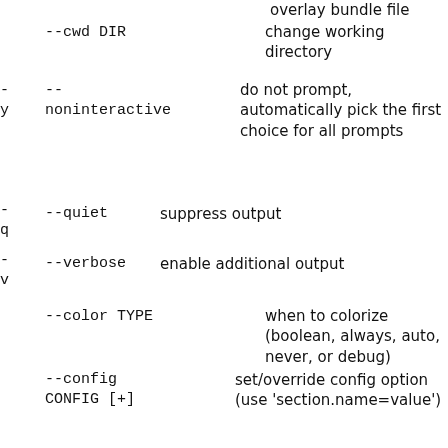overlay bundle file
--cwd DIR
change working directory
-y  --noninteractive
do not prompt, automatically pick the first choice for all prompts
-q  --quiet
suppress output
-v  --verbose
enable additional output
--color TYPE
when to colorize (boolean, always, auto, never, or debug)
--config CONFIG [+]
set/override config option (use 'section.name=value')
--debug
enable debugging output
--debugger
start debugger
--encoding ENCODE
set the charset encoding (default: UTF-8)